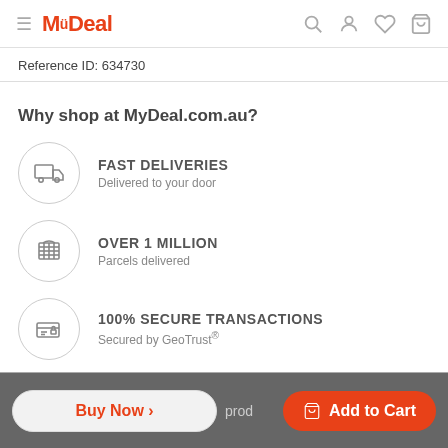MyDeal — navigation header with hamburger, logo, search, account, wishlist, cart icons
Reference ID: 634730
Why shop at MyDeal.com.au?
FAST DELIVERIES — Delivered to your door
OVER 1 MILLION — Parcels delivered
100% SECURE TRANSACTIONS — Secured by GeoTrust®
Buy Now > | prod… | Add to Cart